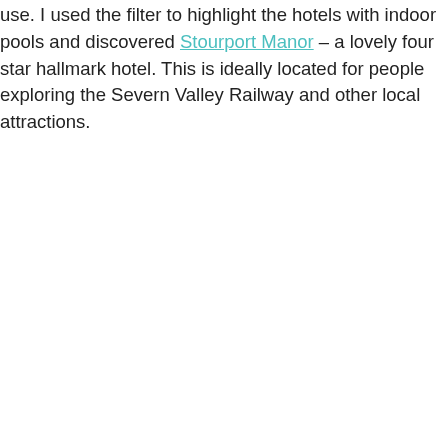use. I used the filter to highlight the hotels with indoor pools and discovered Stourport Manor – a lovely four star hallmark hotel. This is ideally located for people exploring the Severn Valley Railway and other local attractions.